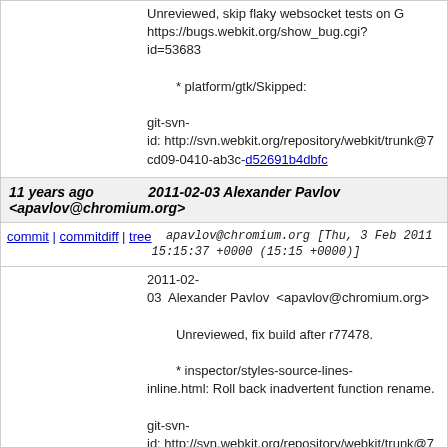Unreviewed, skip flaky websocket tests on G https://bugs.webkit.org/show_bug.cgi?id=53683
* platform/gtk/Skipped:
git-svn-id: http://svn.webkit.org/repository/webkit/trunk@7 cd09-0410-ab3c-d52691b4dbfc
11 years ago  2011-02-03 Alexander Pavlov <apavlov@chromium.org>
commit | commitdiff | tree  apavlov@chromium.org [Thu, 3 Feb 2011 15:15:37 +0000 (15:15 +0000)]
2011-02-03 Alexander Pavlov <apavlov@chromium.org>
Unreviewed, fix build after r77478.
* inspector/styles-source-lines-inline.html: Roll back inadvertent function rename.
git-svn-id: http://svn.webkit.org/repository/webkit/trunk@7 cd09-0410-ab3c-d52691b4dbfc
11 years ago  2011-02-03 Philippe Normand